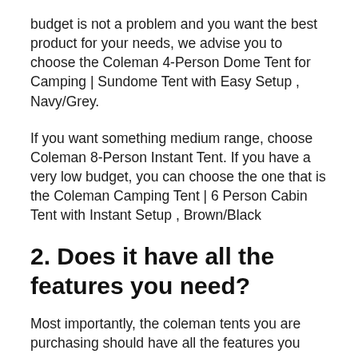budget is not a problem and you want the best product for your needs, we advise you to choose the Coleman 4-Person Dome Tent for Camping | Sundome Tent with Easy Setup , Navy/Grey.
If you want something medium range, choose Coleman 8-Person Instant Tent. If you have a very low budget, you can choose the one that is the Coleman Camping Tent | 6 Person Cabin Tent with Instant Setup , Brown/Black
2. Does it have all the features you need?
Most importantly, the coleman tents you are purchasing should have all the features you